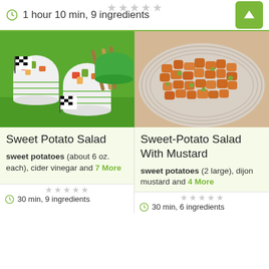1 hour 10 min, 9 ingredients
[Figure (photo): Sweet Potato Salad - fruit salad cups with checkered flags on green background]
[Figure (photo): Sweet-Potato Salad With Mustard - chopped sweet potatoes on a decorative plate]
Sweet Potato Salad
Sweet-Potato Salad With Mustard
sweet potatoes (about 6 oz. each), cider vinegar and 7 More
sweet potatoes (2 large), dijon mustard and 4 More
30 min, 9 ingredients
30 min, 6 ingredients